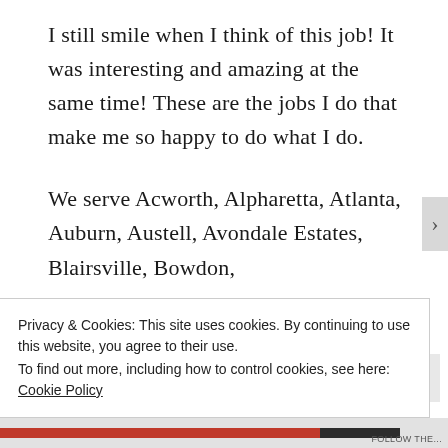I still smile when I think of this job! It was interesting and amazing at the same time! These are the jobs I do that make me so happy to do what I do.
We serve Acworth, Alpharetta, Atlanta, Auburn, Austell, Avondale Estates, Blairsville, Bowdon,
Privacy & Cookies: This site uses cookies. By continuing to use this website, you agree to their use.
To find out more, including how to control cookies, see here: Cookie Policy
Close and accept